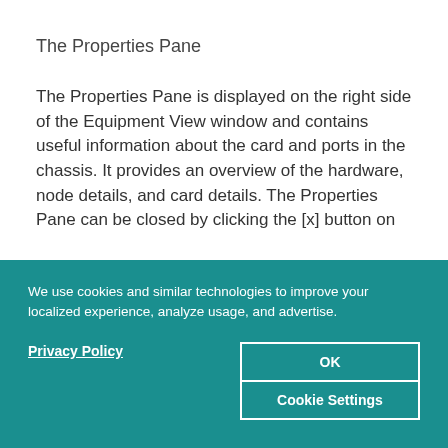The Properties Pane
The Properties Pane is displayed on the right side of the Equipment View window and contains useful information about the card and ports in the chassis. It provides an overview of the hardware, node details, and card details. The Properties Pane can be closed by clicking the [x] button on
We use cookies and similar technologies to improve your localized experience, analyze usage, and advertise.
Privacy Policy
OK
Cookie Settings